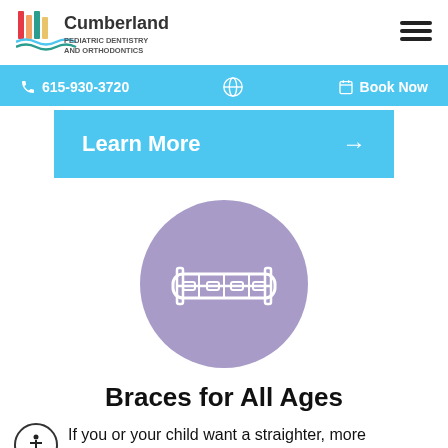Cumberland Pediatric Dentistry and Orthodontics
615-930-3720  Book Now
Learn More →
[Figure (illustration): Purple circle with white braces/orthodontics icon showing dental braces]
Braces for All Ages
If you or your child want a straighter, more